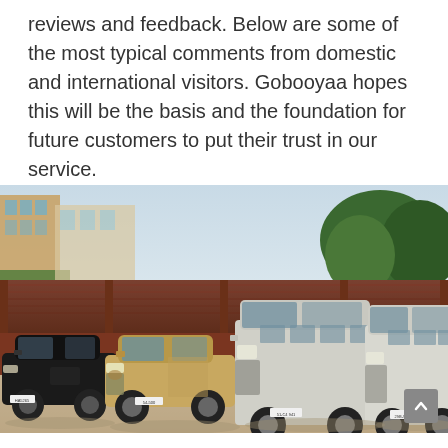reviews and feedback. Below are some of the most typical comments from domestic and international visitors. Gobooyaa hopes this will be the basis and the foundation for future customers to put their trust in our service.
[Figure (photo): A fleet of vehicles parked in a yard in front of a rusty corrugated iron roof structure with buildings visible in the background: a black Toyota SUV, a gold/beige Toyota Innova MPV, and two silver Ford Transit-style large vans.]